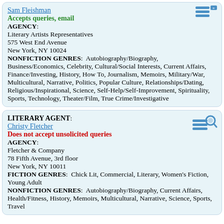Sam Fleishman — Accepts queries, email
AGENCY: Literary Artists Representatives
575 West End Avenue
New York, NY 10024
NONFICTION GENRES: Autobiography/Biography, Business/Economics, Celebrity, Cultural/Social Interests, Current Affairs, Finance/Investing, History, How To, Journalism, Memoirs, Military/War, Multicultural, Narrative, Politics, Popular Culture, Relationships/Dating, Religious/Inspirational, Science, Self-Help/Self-Improvement, Spirituality, Sports, Technology, Theater/Film, True Crime/Investigative
LITERARY AGENT: Christy Fletcher
Does not accept unsolicited queries
AGENCY: Fletcher & Company
78 Fifth Avenue, 3rd floor
New York, NY 10011
FICTION GENRES: Chick Lit, Commercial, Literary, Women's Fiction, Young Adult
NONFICTION GENRES: Autobiography/Biography, Current Affairs, Health/Fitness, History, Memoirs, Multicultural, Narrative, Science, Sports, Travel